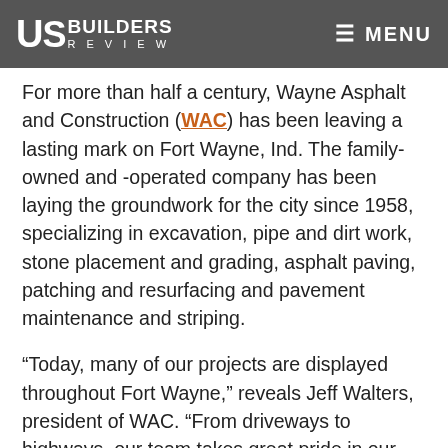US BUILDERS REVIEW | MENU
For more than half a century, Wayne Asphalt and Construction (WAC) has been leaving a lasting mark on Fort Wayne, Ind. The family-owned and -operated company has been laying the groundwork for the city since 1958, specializing in excavation, pipe and dirt work, stone placement and grading, asphalt paving, patching and resurfacing and pavement maintenance and striping.
“Today, many of our projects are displayed throughout Fort Wayne,” reveals Jeff Walters, president of WAC. “From driveways to highways, our team takes great pride in our work and